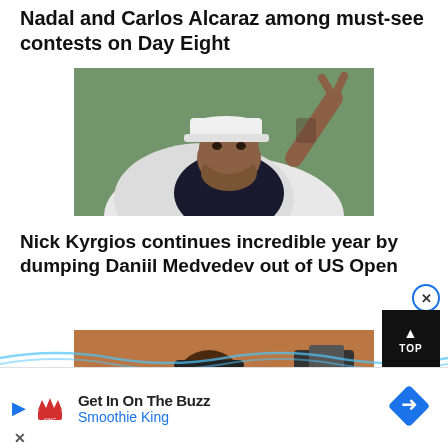Nadal and Carlos Alcaraz among must-see contests on Day Eight
[Figure (photo): Nick Kyrgios making a peace/victory sign gesture with his hand, wearing a white cap and white jacket over dark shirt]
Nick Kyrgios continues incredible year by dumping Daniil Medvedev out of US Open
[Figure (photo): Female tennis player smiling broadly, photographed at a tennis event]
[Figure (other): Advertisement: Get In On The Buzz - Smoothie King with logo, navigation arrow icon, and close/X button. TOP button overlay.]